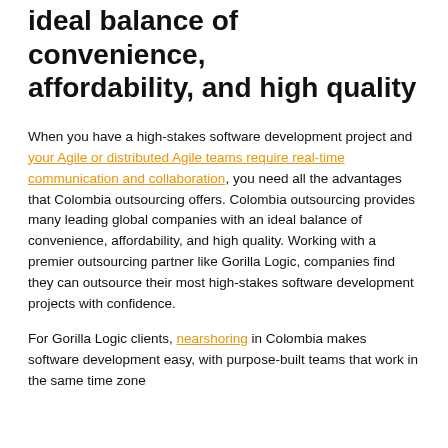ideal balance of convenience, affordability, and high quality
When you have a high-stakes software development project and your Agile or distributed Agile teams require real-time communication and collaboration, you need all the advantages that Colombia outsourcing offers. Colombia outsourcing provides many leading global companies with an ideal balance of convenience, affordability, and high quality. Working with a premier outsourcing partner like Gorilla Logic, companies find they can outsource their most high-stakes software development projects with confidence.
For Gorilla Logic clients, nearshoring in Colombia makes software development easy, with purpose-built teams that work in the same time zone